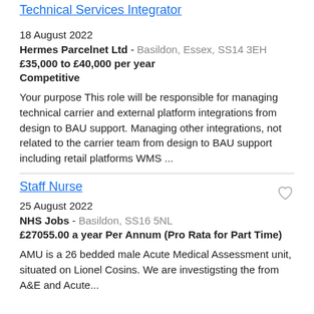Technical Services Integrator
18 August 2022
Hermes Parcelnet Ltd - Basildon, Essex, SS14 3EH
£35,000 to £40,000 per year Competitive
Your purpose This role will be responsible for managing technical carrier and external platform integrations from design to BAU support. Managing other integrations, not related to the carrier team from design to BAU support including retail platforms WMS ...
Staff Nurse
25 August 2022
NHS Jobs - Basildon, SS16 5NL
£27055.00 a year Per Annum (Pro Rata for Part Time)
AMU is a 26 bedded male Acute Medical Assessment unit, situated on Lionel Cosins. We are investigsting the from A&E and Acute...